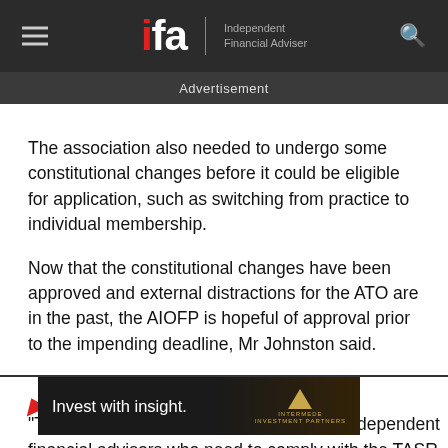ifa Independent Financial Adviser
Advertisement
The association also needed to undergo some constitutional changes before it could be eligible for application, such as switching from practice to individual membership.
Now that the constitutional changes have been approved and external distractions for the ATO are in the past, the AIOFP is hopeful of approval prior to the impending deadline, Mr Johnston said.
[Figure (screenshot): Intermede Investment Partners advertisement banner reading 'Invest with insight.' with gold triangle logo on dark background]
"This will be very important for the many independent financial advisors who need to comply with the TASR